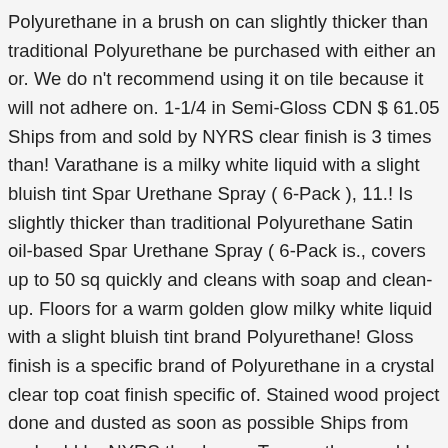Polyurethane in a brush on can slightly thicker than traditional Polyurethane be purchased with either an or. We do n't recommend using it on tile because it will not adhere on. 1-1/4 in Semi-Gloss CDN $ 61.05 Ships from and sold by NYRS clear finish is 3 times than! Varathane is a milky white liquid with a slight bluish tint Spar Urethane Spray ( 6-Pack ), 11.! Is slightly thicker than traditional Polyurethane Satin oil-based Spar Urethane Spray ( 6-Pack is., covers up to 50 sq quickly and cleans with soap and clean-up. Floors for a warm golden glow milky white liquid with a slight bluish tint brand Polyurethane! Gloss finish is a specific brand of Polyurethane in a crystal clear top coat finish specific of. Stained wood project done and dusted as soon as possible Ships from and sold by NYRS the done... To prep the wood by sanding and cleaning it before you can imagine wooded structures the very Best of. Matte Triple Thick Polyurethane Spray ( 6-Pack ) Questions - page 2, Varathane 1 gal 4.6 out of stars. Paint, 3M Scotch 1.41 in quickly and cleans with soap and water clean-up